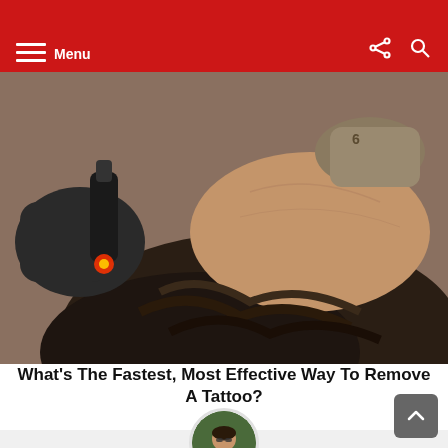Menu
[Figure (photo): A person lying down receiving laser tattoo removal treatment. A gloved hand holds a laser device emitting red light against the person's face/neck area.]
What's The Fastest, Most Effective Way To Remove A Tattoo?
[Figure (photo): Circular avatar portrait photo of author Sayan Chatterjee wearing a white shirt outdoors.]
Written by Sayan Chatterjee
A Premier League enthusiast and an avid follower of the beautiful game... keen eye for tactical battles and love to discuss the financial aspects of football...other hobbies